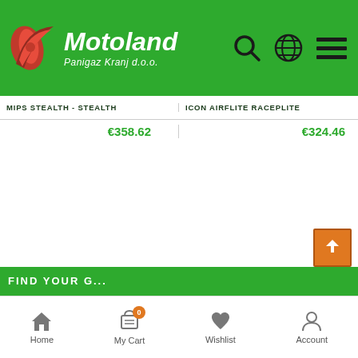[Figure (screenshot): Motoland Panigaz Kranj d.o.o. website header with green background, logo with red wing icon and white italic text]
MIPS STEALTH - STEALTH
ICON AIRFLITE RACEPLITE
€358.62
€324.46
SHOWING 1-36 OF 147 ITEM(S)
1 2 3 .... 5 NEXT
FIND YOUR G...
Home
My Cart
Wishlist
Account